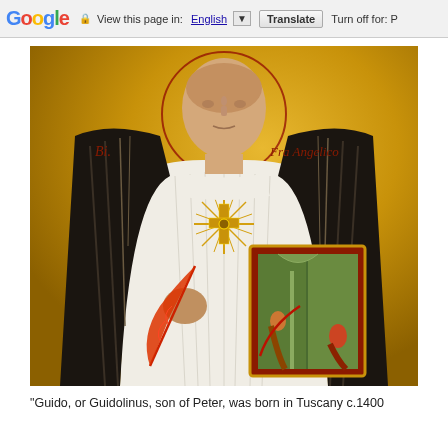Google  View this page in: English ▼  Translate  Turn off for: P
[Figure (photo): Religious icon painting of Fra Angelico (Bi. Fra Angelico) depicted as a Dominican friar in black and white habit, holding a red feather quill in one hand and an illuminated manuscript/book in the other. A radiant golden sunburst cross is on his chest. The background is gold. Text on the painting reads 'Bi.' on the left and 'Fra Angelico' on the right in red letters.]
"Guido, or Guidolinus, son of Peter, was born in Tuscany c.1400